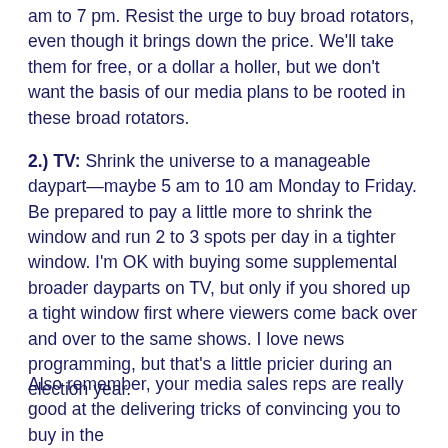am to 7 pm. Resist the urge to buy broad rotators, even though it brings down the price. We'll take them for free, or a dollar a holler, but we don't want the basis of our media plans to be rooted in these broad rotators.
2.) TV: Shrink the universe to a manageable daypart—maybe 5 am to 10 am Monday to Friday. Be prepared to pay a little more to shrink the window and run 2 to 3 spots per day in a tighter window. I'm OK with buying some supplemental broader dayparts on TV, but only if you shored up a tight window first where viewers come back over and over to the same shows. I love news programming, but that's a little pricier during an election year.
Also remember, your media sales reps are really good at the delivering tricks of convincing you to buy in the